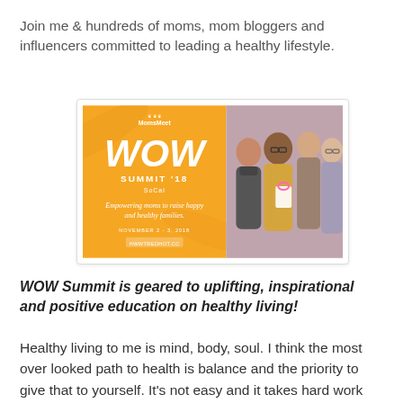Join me & hundreds of moms, mom bloggers and influencers committed to leading a healthy lifestyle.
[Figure (photo): WOW Summit '18 SoCal event banner showing logo on yellow background with text 'Empowering moms to raise happy and healthy families.' and photo of women smiling at event]
WOW Summit is geared to uplifting, inspirational and positive education on healthy living!
Healthy living to me is mind, body, soul. I think the most over looked path to health is balance and the priority to give that to yourself. It's not easy and it takes hard work and dedication but as with anything